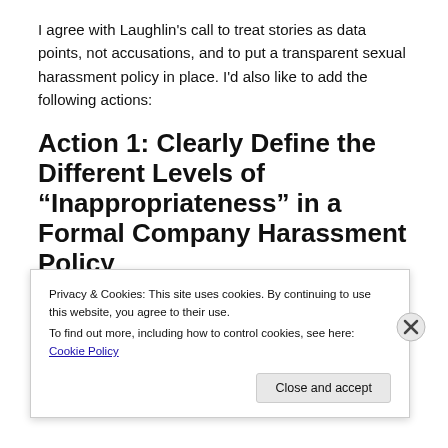I agree with Laughlin's call to treat stories as data points, not accusations, and to put a transparent sexual harassment policy in place. I'd also like to add the following actions:
Action 1: Clearly Define the Different Levels of “Inappropriateness” in a Formal Company Harassment Policy
Level A. Verbal or Gender Harassment:
Privacy & Cookies: This site uses cookies. By continuing to use this website, you agree to their use.
To find out more, including how to control cookies, see here: Cookie Policy